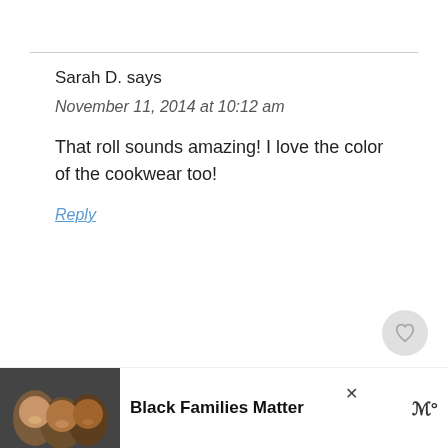Sarah D. says
November 11, 2014 at 10:12 am
That roll sounds amazing! I love the color of the cookwear too!
Reply
Meg says
[Figure (other): What's Next widget showing cinnamon coconut dish thumbnail with text 'WHAT'S NEXT → Cinnamon, Coconut,...']
[Figure (other): Advertisement banner: photo of smiling Black family children, bold text 'Black Families Matter' with close button and logo]